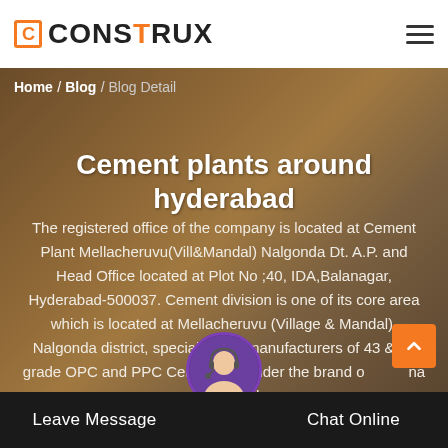CONSTRUX
Home / Blog / Blog Detail
Cement plants around hyderabad
The registered office of the company is located at Cement Plant Mellacheruvu(Vill&Mandal) Nalgonda Dt. A.P. and Head Office located at Plot No ;40, IDA,Balanagar, Hyderabad-500037. Cement division is one of its core area which is located at Mellacheruvu (Village & Mandal), Nalgonda district, specialized in manufacturers of 43 & 53 grade OPC and PPC Cem under the brand o na and sold in the
Leave Message   Chat Online